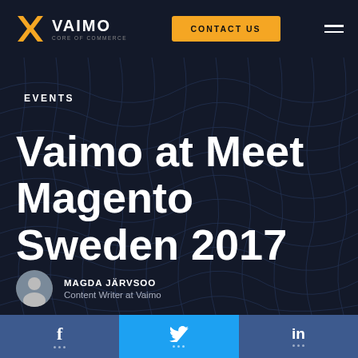[Figure (logo): Vaimo logo with golden X icon and white VAIMO text, subtitle CORE OF COMMERCE]
CONTACT US
EVENTS
Vaimo at Meet Magento Sweden 2017
MAGDA JÄRVSOO
Content Writer at Vaimo
[Figure (infographic): Social share bar with Facebook, Twitter, LinkedIn icons at the bottom]